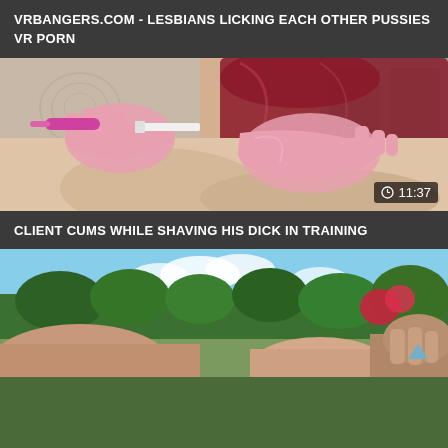VRBANGERS.COM - LESBIANS LICKING EACH OTHER PUSSIES VR PORN
[Figure (photo): Video thumbnail showing a person in a dark red/crimson satin top wearing pink latex gloves, holding grooming tools over a body, close-up medical/intimate scene indoors]
11:37
CLIENT CUMS WHILE SHAVING HIS DICK IN TRAINING
[Figure (photo): Video thumbnail showing an outdoor scene with green trees and blue sky in the background, close-up of hands and intimate body parts in a garden/park setting]